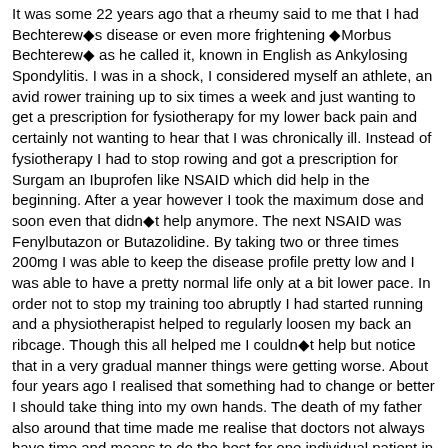It was some 22 years ago that a rheumy said to me that I had Bechterew■s disease or even more frightening ■Morbus Bechterew■ as he called it, known in English as Ankylosing Spondylitis. I was in a shock, I considered myself an athlete, an avid rower training up to six times a week and just wanting to get a prescription for fysiotherapy for my lower back pain and certainly not wanting to hear that I was chronically ill. Instead of fysiotherapy I had to stop rowing and got a prescription for Surgam an Ibuprofen like NSAID which did help in the beginning. After a year however I took the maximum dose and soon even that didn■t help anymore. The next NSAID was Fenylbutazon or Butazolidine. By taking two or three times 200mg I was able to keep the disease profile pretty low and I was able to have a pretty normal life only at a bit lower pace. In order not to stop my training too abruptly I had started running and a physiotherapist helped to regularly loosen my back an ribcage. Though this all helped me I couldn■t help but notice that in a very gradual manner things were getting worse. About four years ago I realised that something had to change or better I should take thing into my own hands. The death of my father also around that time made me realise that doctors not always have time and means to do the best for one individual patient in a certain situation. Everyone has his own responsibilities too, especially when educated enough to sort things out. So I started searching first in medical databases and later further on the internet and discovered kick as (thanks to the also Dutch Arjan by the way). The more I read the more excited I became: there really was research that was not practiced in the medical world but that do was easy to follow and about which a lot of people were very enthusiastic. So I read about the whole